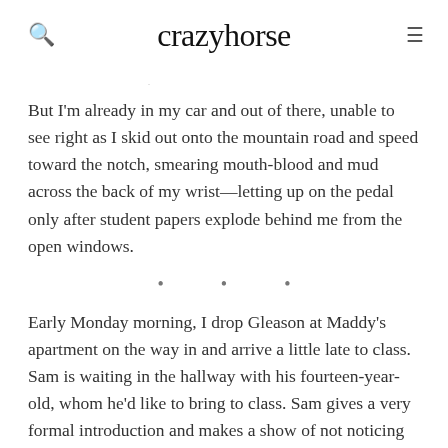crazyhorse
But I'm already in my car and out of there, unable to see right as I skid out onto the mountain road and speed toward the notch, smearing mouth-blood and mud across the back of my wrist—letting up on the pedal only after student papers explode behind me from the open windows.
• • •
Early Monday morning, I drop Gleason at Maddy's apartment on the way in and arrive a little late to class. Sam is waiting in the hallway with his fourteen-year-old, whom he'd like to bring to class. Sam gives a very formal introduction and makes a show of not noticing my face. Kenny clamps my hand and lays on